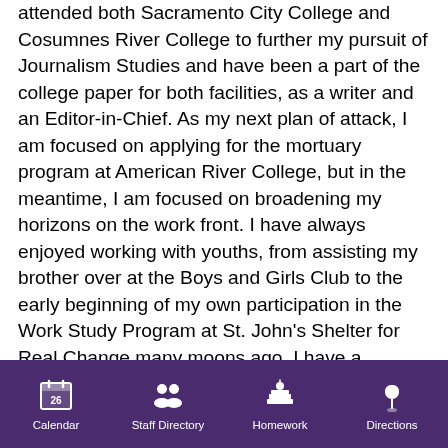attended both Sacramento City College and Cosumnes River College to further my pursuit of Journalism Studies and have been a part of the college paper for both facilities, as a writer and an Editor-in-Chief. As my next plan of attack, I am focused on applying for the mortuary program at American River College, but in the meantime, I am focused on broadening my horizons on the work front. I have always enjoyed working with youths, from assisting my brother over at the Boys and Girls Club to the early beginning of my own participation in the Work Study Program at St. John's Shelter for Real Change many moons ago. I have a passion for art and history, as well as reading and video game/animation media. To come back to the school that started it all is an incredible opportunity, so I look forward to returning with the knowledge that I will be assisting the next cycle of soon-to-be graduates with new memories and perspectives.
Calendar | Staff Directory | Homework | Directions